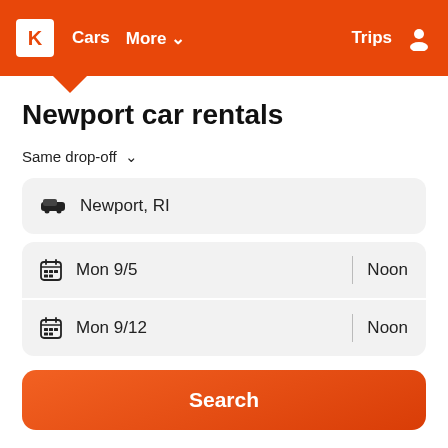K  Cars  More  Trips
Newport car rentals
Same drop-off
Newport, RI
Mon 9/5  Noon
Mon 9/12  Noon
Search
Compare hundreds of rental car sites at once for car